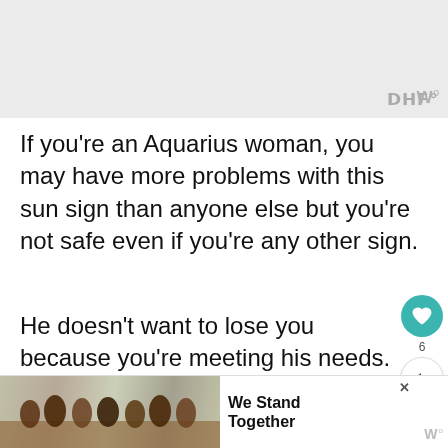[Figure (photo): Light gray placeholder image area at the top of the page, with a small watermark icon in the bottom-right corner]
If you’re an Aquarius woman, you may have more problems with this sun sign than anyone else but you’re not safe even if you’re any other sign.
He doesn’t want to lose you because you’re meeting his needs. He knows that you’re easy to manipulate so he doesn’t want to let go of you but when you try to ha... ...m the
[Figure (advertisement): Ad banner at the bottom showing a group of people with arms around each other, with text 'We Stand Together' and a close button]